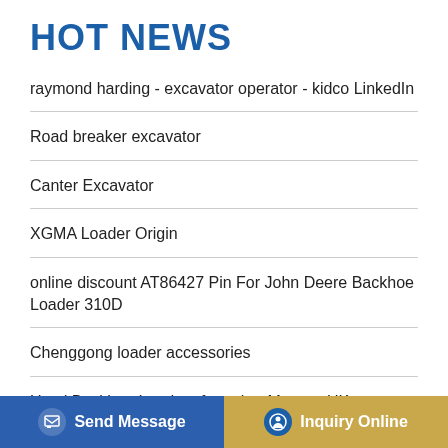HOT NEWS
raymond harding - excavator operator - kidco LinkedIn
Road breaker excavator
Canter Excavator
XGMA Loader Origin
online discount AT86427 Pin For John Deere Backhoe Loader 310D
Chenggong loader accessories
Used Backhoe Loaders for sale - Mascus UK
Reasons for the big vibration of the loader